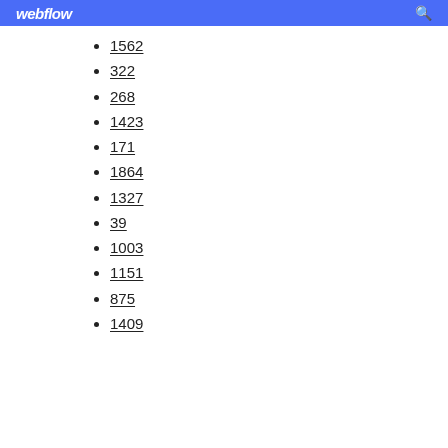webflow
1562
322
268
1423
171
1864
1327
39
1003
1151
875
1409